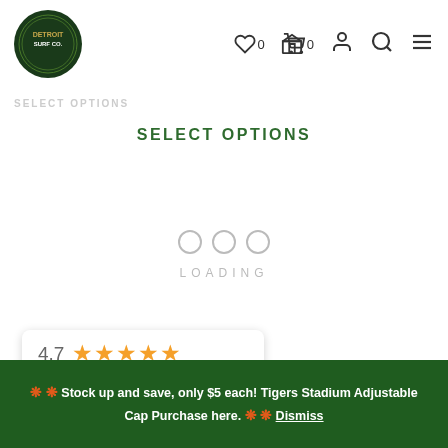Detroit Surf Co. navigation header with logo, wishlist (0), cart (0), account, search, and menu icons
SELECT OPTIONS
SELECT OPTIONS
OOC LOADING
[Figure (logo): Google review card showing 4.7 rating with 5 orange stars and Google text]
❋ ❋ Stock up and save, only $5 each! Tigers Stadium Adjustable Cap Purchase here. ❋ ❋ Dismiss